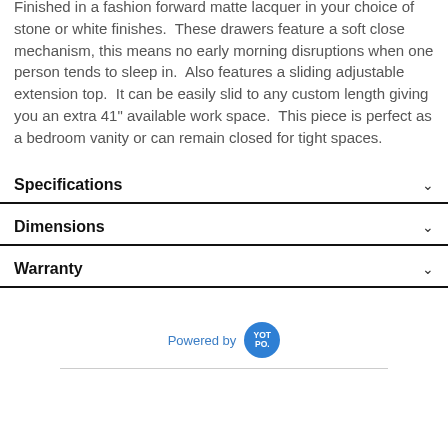Finished in a fashion forward matte lacquer in your choice of stone or white finishes. These drawers feature a soft close mechanism, this means no early morning disruptions when one person tends to sleep in. Also features a sliding adjustable extension top. It can be easily slid to any custom length giving you an extra 41" available work space. This piece is perfect as a bedroom vanity or can remain closed for tight spaces.
Specifications
Dimensions
Warranty
Powered by YOTPO.